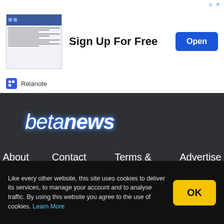[Figure (screenshot): Advertisement banner for Relanote app showing 'Sign Up For Free' with an Open button and app screenshot thumbnail]
[Figure (logo): betanews logo in italic white text with blue glow effect on dark background]
About   Contact   Terms & Conditions   Advertise
Site credentials: FileForum   Betanews Downloadcrew
Like every other website, this site uses cookies to deliver its services, to manage your account and to analyse traffic. By using this website you agree to the use of cookies. Learn More